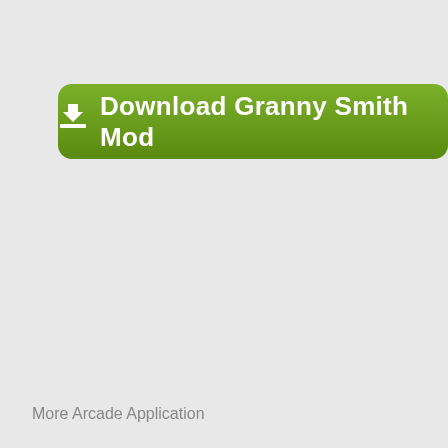[Figure (other): Green rounded download button with download icon and text 'Download Granny Smith Mod']
More Arcade Application